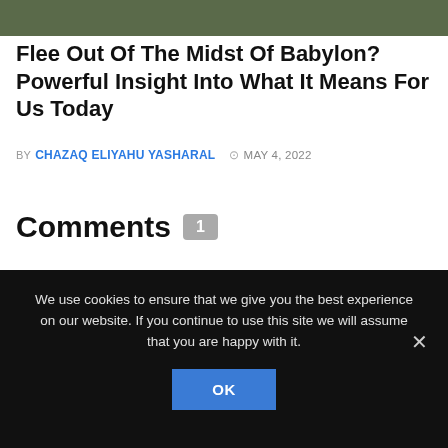[Figure (photo): Dark nature/forest image strip at top of page]
Flee Out Of The Midst Of Babylon? Powerful Insight Into What It Means For Us Today
BY CHAZAQ ELIYAHU YASHARAL  MAY 4, 2022
Comments 1
Pingback: Who Or What Is the Beast Of Revelation 13? Undeniable Proof - Just a Word
We use cookies to ensure that we give you the best experience on our website. If you continue to use this site we will assume that you are happy with it.